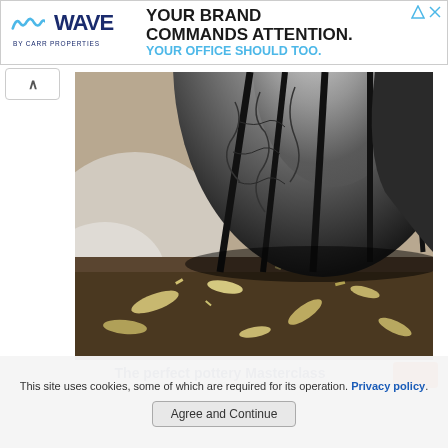[Figure (other): Wave by Carr Properties advertisement banner with logo and text: YOUR BRAND COMMANDS ATTENTION. YOUR OFFICE SHOULD TOO.]
[Figure (photo): Close-up photo of a car tire spinning on dirt/gravel with debris scattered around, smoke visible, dramatic low-angle shot]
The perfect pottery Masterclass
This site uses cookies, some of which are required for its operation. Privacy policy.
Agree and Continue